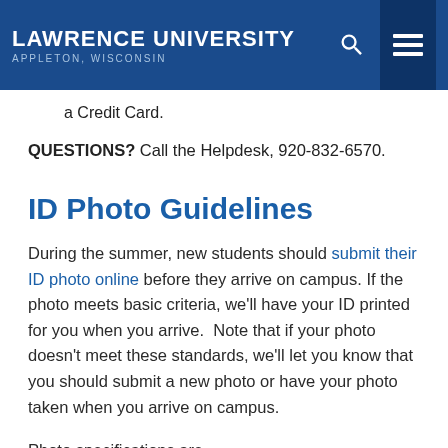Lawrence University — Appleton, Wisconsin
a Credit Card.
QUESTIONS?  Call the Helpdesk, 920-832-6570.
ID Photo Guidelines
During the summer, new students should submit their ID photo online before they arrive on campus. If the photo meets basic criteria, we'll have your ID printed for you when you arrive.  Note that if your photo doesn't meet these standards, we'll let you know that you should submit a new photo or have your photo taken when you arrive on campus.
Photo specifications are